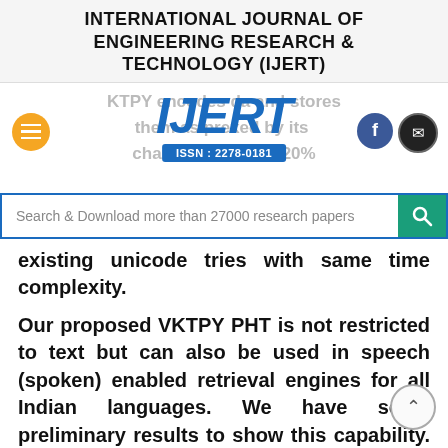INTERNATIONAL JOURNAL OF ENGINEERING RESEARCH & TECHNOLOGY (IJERT)
[Figure (logo): IJERT logo with ISSN : 2278-0181, hamburger menu button (orange), Facebook and email social buttons, and faded background text about KTPY encoding]
[Figure (other): Search bar: 'Search & Download more than 27000 research papers' with teal search button]
existing unicode tries with same time complexity.

Our proposed VKTPY PHT is not restricted to text but can also be used in speech (spoken) enabled retrieval engines for all Indian languages. We have some preliminary results to show this capability. In short, the key benefits